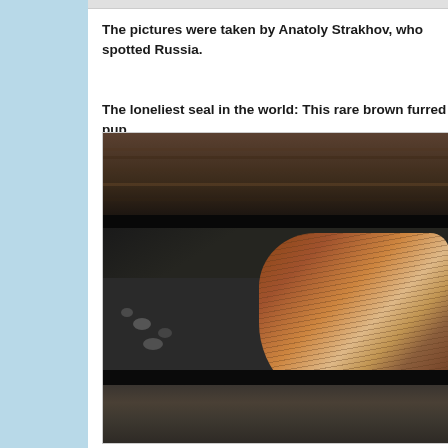The pictures were taken by Anatoly Strakhov, who spotted Russia.
The loneliest seal in the world: This rare brown furred pup
[Figure (photo): Close-up photograph of a rare brown furred seal pup sheltering beneath dark wooden planks or beams, with rocky ground visible underneath]